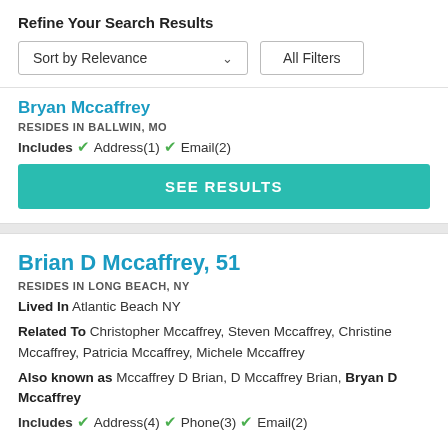Refine Your Search Results
Sort by Relevance   All Filters
Bryan Mccaffrey
RESIDES IN BALLWIN, MO
Includes ✓ Address(1) ✓ Email(2)
SEE RESULTS
Brian D Mccaffrey, 51
RESIDES IN LONG BEACH, NY
Lived In Atlantic Beach NY
Related To Christopher Mccaffrey, Steven Mccaffrey, Christine Mccaffrey, Patricia Mccaffrey, Michele Mccaffrey
Also known as Mccaffrey D Brian, D Mccaffrey Brian, Bryan D Mccaffrey
Includes ✓ Address(4) ✓ Phone(3) ✓ Email(2)